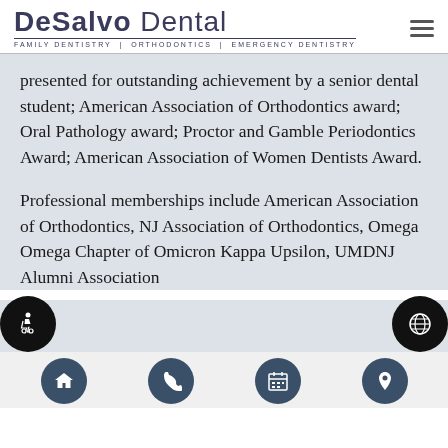DeSalvo Dental — Family Dentistry | Orthodontics | Emergency Dentistry
presented for outstanding achievement by a senior dental student; American Association of Orthodontics award; Oral Pathology award; Proctor and Gamble Periodontics Award; American Association of Women Dentists Award.
Professional memberships include American Association of Orthodontics, NJ Association of Orthodontics, Omega Omega Chapter of Omicron Kappa Upsilon, UMDNJ Alumni Association
Navigation icons: home, phone, calendar, location